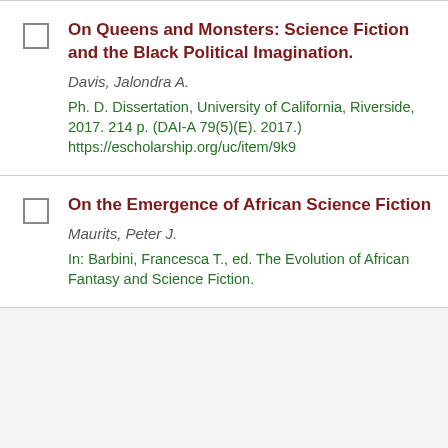On Queens and Monsters: Science Fiction and the Black Political Imagination.
Davis, Jalondra A.
Ph. D. Dissertation, University of California, Riverside, 2017. 214 p. (DAI-A 79(5)(E). 2017.) https://escholarship.org/uc/item/9k9...
On the Emergence of African Science Fiction
Maurits, Peter J.
In: Barbini, Francesca T., ed. The Evolution of African Fantasy and Science Fiction.